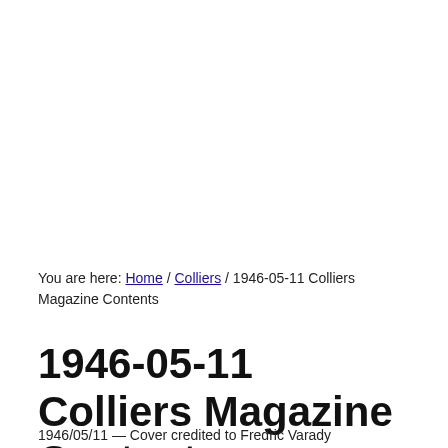You are here: Home / Colliers / 1946-05-11 Colliers Magazine Contents
1946-05-11 Colliers Magazine Contents
1946/05/11 — Cover credited to Fredric Varady